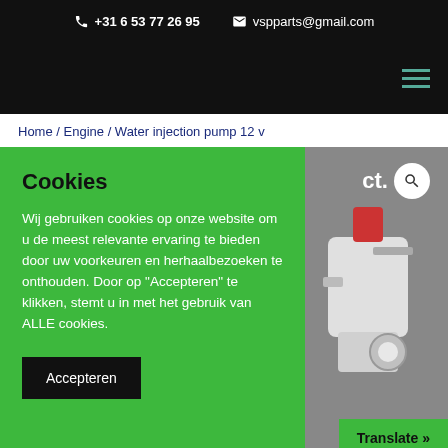+31 6 53 77 26 95  vspparts@gmail.com
Home / Engine / Water injection pump 12 v
[Figure (screenshot): Cookie consent overlay on green background over a product page. Shows Cookies heading, Dutch cookie consent text, Accepteren button, and a Translate >> button. Background shows a water injection pump part image on grey.]